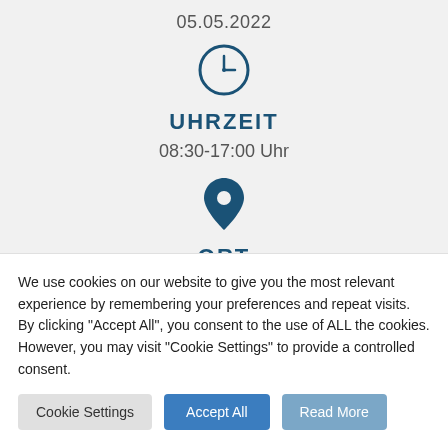05.05.2022
[Figure (illustration): Clock icon, circular outline with hands, dark blue color]
UHRZEIT
08:30-17:00 Uhr
[Figure (illustration): Location pin / map marker icon, solid dark blue]
ORT
We use cookies on our website to give you the most relevant experience by remembering your preferences and repeat visits. By clicking "Accept All", you consent to the use of ALL the cookies. However, you may visit "Cookie Settings" to provide a controlled consent.
Cookie Settings
Accept All
Read More